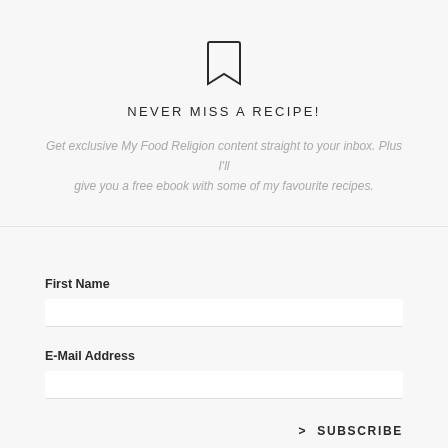[Figure (illustration): Bookmark icon outline, black stroke, centered at top of page]
NEVER MISS A RECIPE!
Get exclusive My Food Religion content straight to your inbox. Plus I'll give you a free ebook with some of my favourite recipes.
First Name
E-Mail Address
> SUBSCRIBE